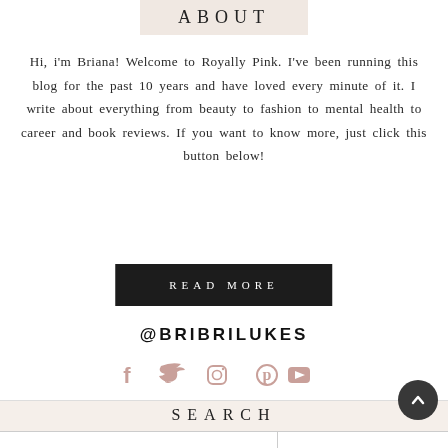ABOUT
Hi, i'm Briana! Welcome to Royally Pink. I've been running this blog for the past 10 years and have loved every minute of it. I write about everything from beauty to fashion to mental health to career and book reviews. If you want to know more, just click this button below!
READ MORE
@BRIBRILUKES
[Figure (infographic): Social media icons: Facebook, Twitter, Instagram, Pinterest, YouTube — shown in a muted pink/rose color]
SEARCH